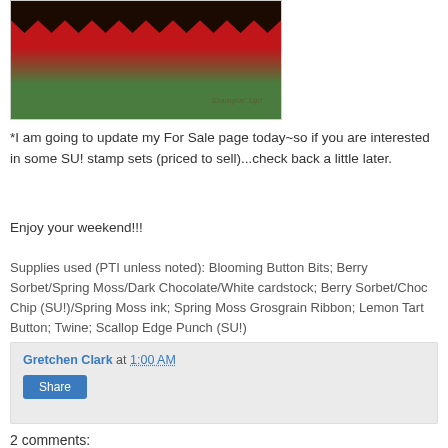[Figure (photo): Photo of a handmade card with dark scalloped top edge, red cardstock, green base, and a watermark text in the lower right corner]
*I am going to update my For Sale page today~so if you are interested in some SU! stamp sets (priced to sell)...check back a little later.
Enjoy your weekend!!!
Supplies used (PTI unless noted): Blooming Button Bits; Berry Sorbet/Spring Moss/Dark Chocolate/White cardstock; Berry Sorbet/Choc Chip (SU!)/Spring Moss ink; Spring Moss Grosgrain Ribbon; Lemon Tart Button; Twine; Scallop Edge Punch (SU!)
Gretchen Clark at 1:00 AM
Share
2 comments: